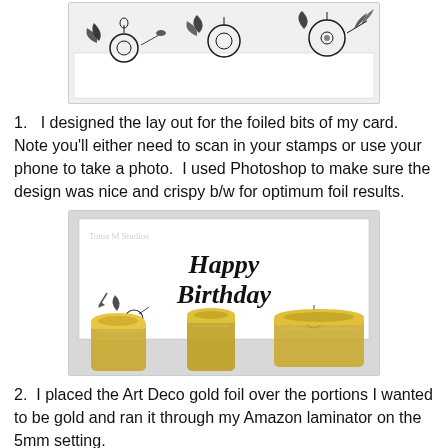[Figure (photo): Top portion of a card with black floral/botanical stamp designs on white background]
1.   I designed the lay out for the foiled bits of my card.  Note you'll either need to scan in your stamps or use your phone to take a photo.  I used Photoshop to make sure the design was nice and crispy b/w for optimum foil results.
[Figure (photo): A Happy Birthday card design with black brush lettering showing 'Happy Birthday' with floral stamps, surrounded by gold foil rolls on top of the card]
2.  I placed the Art Deco gold foil over the portions I wanted to be gold and ran it through my Amazon laminator on the 5mm setting.
[Figure (photo): Close-up partial view of Birthday card with gold foil being applied, showing 'Birthe' text partially visible with gold foil roll]